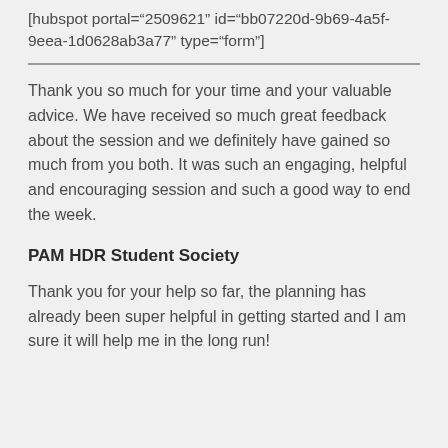[hubspot portal="2509621" id="bb07220d-9b69-4a5f-9eea-1d0628ab3a77" type="form"]
Thank you so much for your time and your valuable advice. We have received so much great feedback about the session and we definitely have gained so much from you both. It was such an engaging, helpful and encouraging session and such a good way to end the week.
PAM HDR Student Society
Thank you for your help so far, the planning has already been super helpful in getting started and I am sure it will help me in the long run!